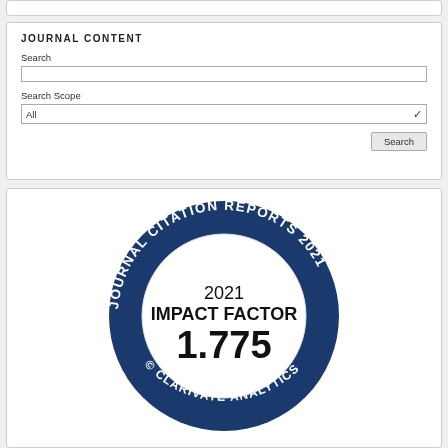JOURNAL CONTENT
Search
Search Scope
All
Search
[Figure (logo): Journal Citation Reports 2021 badge showing 2021 Impact Factor 1.775, © Clarivate Analytics. Dark blue circular badge with white text around the ring and black text in the white center circle.]